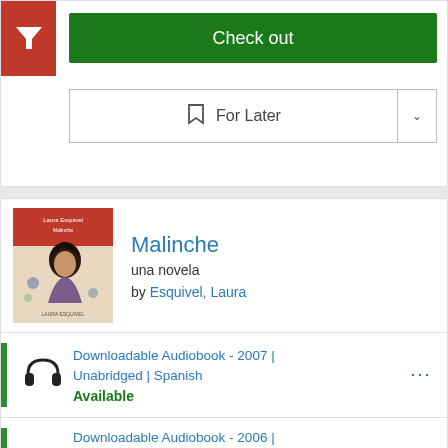[Figure (screenshot): Red filter button with white funnel icon in top-left corner]
Check out
For Later
[Figure (illustration): Book cover for Malinche - woman with dark hair against colorful background]
Malinche
una novela
by Esquivel, Laura
Downloadable Audiobook - 2007 | Unabridged | Spanish
Available
Downloadable Audiobook - 2006 | Spanish
OverDrive Audiobook
Click here to access the Overdrive title